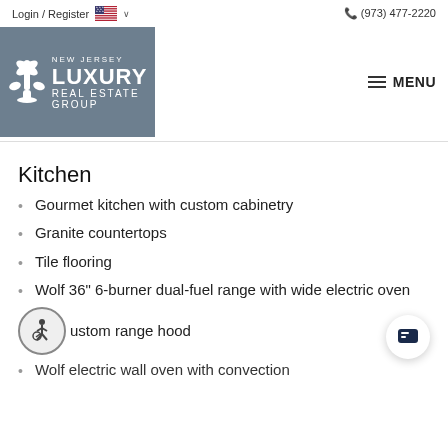Login / Register  (973) 477-2220  NEW JERSEY LUXURY REAL ESTATE GROUP  MENU
Kitchen
Gourmet kitchen with custom cabinetry
Granite countertops
Tile flooring
Wolf 36" 6-burner dual-fuel range with wide electric oven
Custom range hood
Wolf electric wall oven with convection